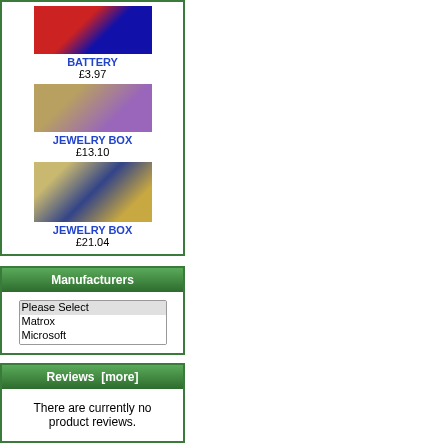[Figure (photo): Battery product image - red and blue cans]
BATTERY
£3.97
[Figure (photo): Jewelry box with animal figurines - duck and elephant]
JEWELRY BOX
£13.10
[Figure (photo): Jewelry box - fish/whale shaped with crystals]
JEWELRY BOX
£21.04
Manufacturers
Please Select
Matrox
Microsoft
Reviews  [more]
There are currently no product reviews.
Featured  [more]
[Figure (photo): Featured product - black toner cartridge]